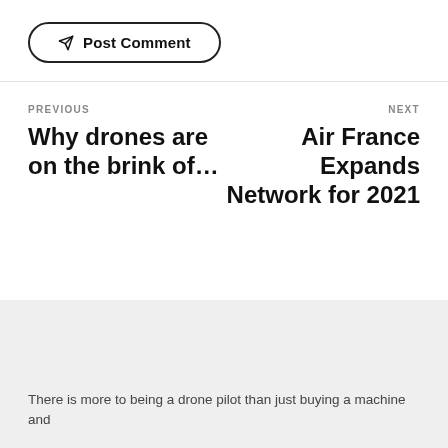Post Comment
PREVIOUS
Why drones are on the brink of…
NEXT
Air France Expands Network for 2021
There is more to being a drone pilot than just buying a machine and